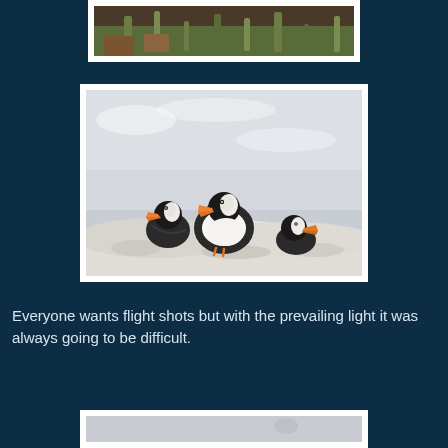[Figure (photo): Partial top photo showing grass and reddish-brown vegetation against a dark background, cropped at top of page]
[Figure (photo): Three Atlantic puffins perched on a white rocky ledge against an overcast grey sky. The puffins have distinctive black and white plumage with orange beaks.]
Everyone wants flight shots but with the prevailing light it was always going to be difficult.
[Figure (photo): Partial bottom photo, largely cropped, showing grey overcast sky with a faint bird silhouette]